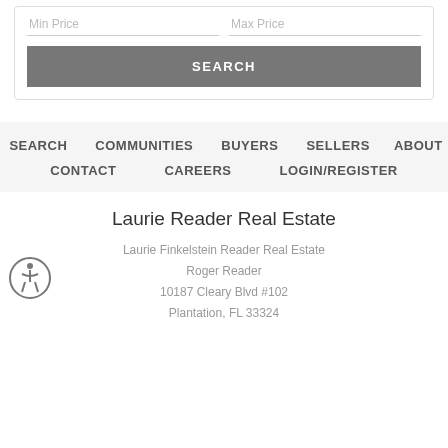[Figure (screenshot): Search form with Min Price and Max Price input fields and a SEARCH button]
SEARCH   COMMUNITIES   BUYERS   SELLERS   ABOUT   CONTACT   CAREERS   LOGIN/REGISTER
Laurie Reader Real Estate
Laurie Finkelstein Reader Real Estate
Roger Reader
10187 Cleary Blvd #102
Plantation, FL 33324